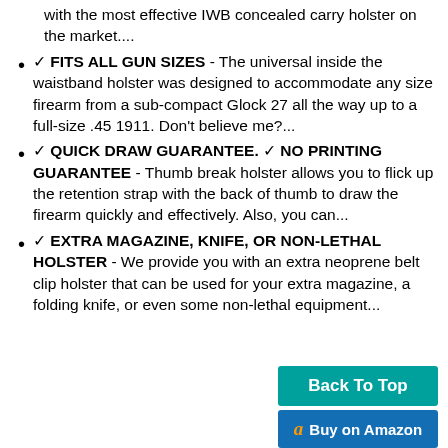with the most effective IWB concealed carry holster on the market....
✓ FITS ALL GUN SIZES - The universal inside the waistband holster was designed to accommodate any size firearm from a sub-compact Glock 27 all the way up to a full-size .45 1911. Don't believe me?...
✓ QUICK DRAW GUARANTEE. ✓ NO PRINTING GUARANTEE - Thumb break holster allows you to flick up the retention strap with the back of thumb to draw the firearm quickly and effectively. Also, you can...
✓ EXTRA MAGAZINE, KNIFE, OR NON-LETHAL HOLSTER - We provide you with an extra neoprene belt clip holster that can be used for your extra magazine, a folding knife, or even some non-lethal equipment...